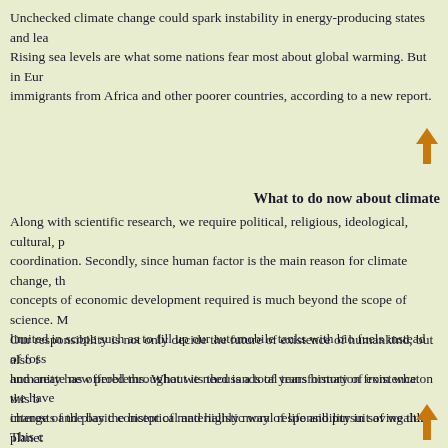Unchecked climate change could spark instability in energy-producing states and lea Rising sea levels are what some nations fear most about global warming. But in Eur immigrants from Africa and other poorer countries, according to a new report.
[Figure (illustration): Orange upward arrow icon]
What to do now about climate
Along with scientific research, we require political, religious, ideological, cultural, p coordination. Secondly, since human factor is the main reason for climate change, th concepts of economic development required is much beyond the scope of science. M limited in scope such as to fill up our automobile tanks with bio fuels instead of foss and create new problems. What we need is a total transformation from what we have change of the basic concept of materialistic way of life and pursuit of wealth. This c values among the society and by replacing materialistic pursuits with holistic and si
Our responsibility is not only decide the future of existence of humankind, but also humanity has offered throughout its thousands of years history of existence on this b interests and play the historical and highly moral responsibility in saving this planet human and otherwise, depends on their meeting this obligation with nothing short of
[Figure (illustration): Orange upward arrow icon at bottom]